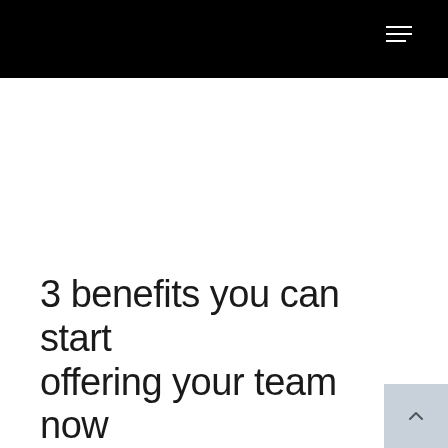3 benefits you can start offering your team now